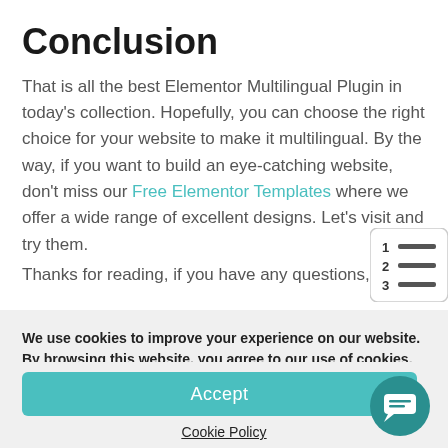Conclusion
That is all the best Elementor Multilingual Plugin in today's collection. Hopefully, you can choose the right choice for your website to make it multilingual. By the way, if you want to build an eye-catching website, don't miss our Free Elementor Templates where we offer a wide range of excellent designs. Let's visit and try them.
Thanks for reading, if you have any questions, please leave
[Figure (other): Table of contents icon showing numbered list with lines]
We use cookies to improve your experience on our website. By browsing this website, you agree to our use of cookies.
Accept
Cookie Policy